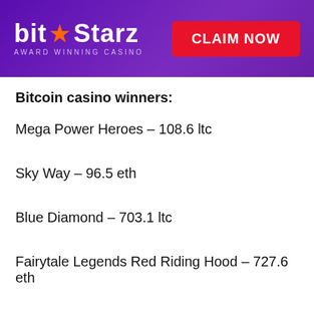[Figure (logo): BitStarz Award Winning Casino banner with logo on purple background and red CLAIM NOW button]
Bitcoin casino winners:
Mega Power Heroes – 108.6 ltc
Sky Way – 96.5 eth
Blue Diamond – 703.1 ltc
Fairytale Legends Red Riding Hood – 727.6 eth